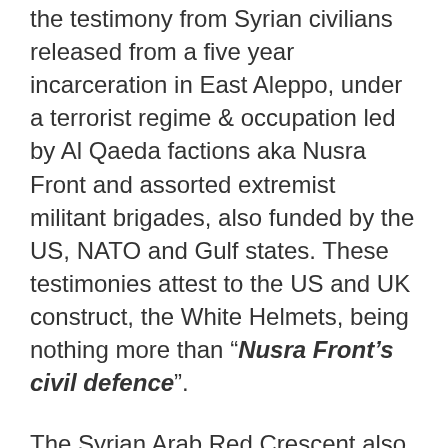the testimony from Syrian civilians released from a five year incarceration in East Aleppo, under a terrorist regime & occupation led by Al Qaeda factions aka Nusra Front and assorted extremist militant brigades, also funded by the US, NATO and Gulf states. These testimonies attest to the US and UK construct, the White Helmets, being nothing more than “Nusra Front’s civil defence”.
The Syrian Arab Red Crescent also told 21WIRE editor, Vanessa Beeley, that they had never seen the White Helmets